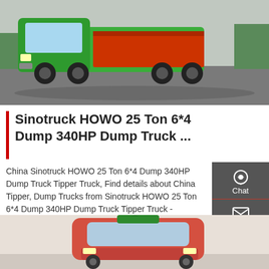[Figure (photo): Green Sinotruck HOWO dump truck parked on asphalt road, side/front view]
Sinotruck HOWO 25 Ton 6*4 Dump 340HP Dump Truck ...
China Sinotruck HOWO 25 Ton 6*4 Dump 340HP Dump Truck Tipper Truck, Find details about China Tipper, Dump Trucks from Sinotruck HOWO 25 Ton 6*4 Dump 340HP Dump Truck Tipper Truck - Sinomada Heavy Industry (Changsha) Co., Ltd.
Get a Quote
[Figure (photo): Red/pink Sinotruck HOWO truck cab front view, partial bottom of page]